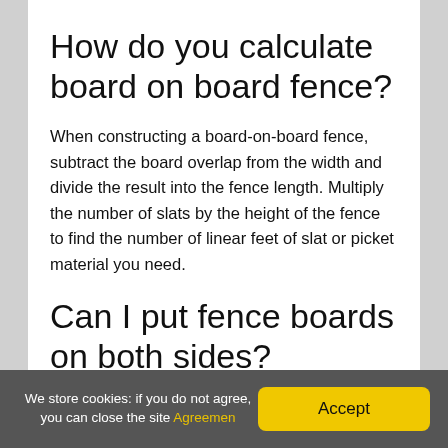How do you calculate board on board fence?
When constructing a board-on-board fence, subtract the board overlap from the width and divide the result into the fence length. Multiply the number of slats by the height of the fence to find the number of linear feet of slat or picket material you need.
Can I put fence boards on both sides?
We store cookies: if you do not agree, you can close the site Agreement